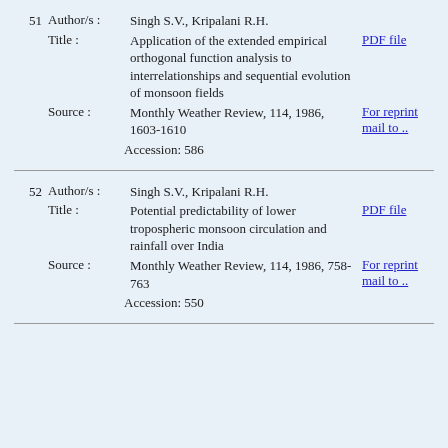51 Author/s: Singh S.V., Kripalani R.H. Title: Application of the extended empirical orthogonal function analysis to interrelationships and sequential evolution of monsoon fields [PDF file] Source: Monthly Weather Review, 114, 1986, 1603-1610 [For reprint mail to ..] Accession: 586
52 Author/s: Singh S.V., Kripalani R.H. Title: Potential predictability of lower tropospheric monsoon circulation and rainfall over India [PDF file] Source: Monthly Weather Review, 114, 1986, 758-763 [For reprint mail to ..] Accession: 550